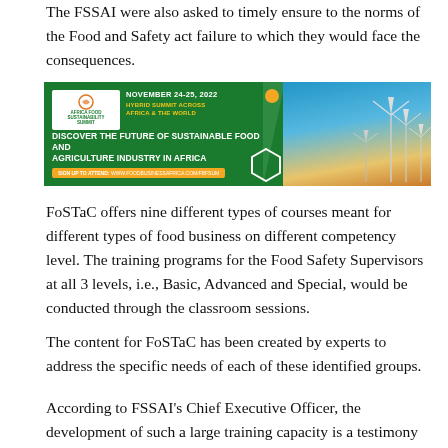The FSSAI were also asked to timely ensure to the norms of the Food and Safety act failure to which they would face the consequences.
[Figure (infographic): Africa Food Sustainability Summit advertisement banner. Green background with text: NOVEMBER 24-25, 2022 HYBRID SUMMIT ACROSS AFRICA & THE WORLD. Main text: DISCOVER THE FUTURE OF SUSTAINABLE FOOD AND AGRICULTURE INDUSTRY IN AFRICA. SIGN UP TO ATTEND with website URL. Right side shows wind turbines against a sky background.]
FoSTaC offers nine different types of courses meant for different types of food business on different competency level. The training programs for the Food Safety Supervisors at all 3 levels, i.e., Basic, Advanced and Special, would be conducted through the classroom sessions.
The content for FoSTaC has been created by experts to address the specific needs of each of these identified groups.
According to FSSAI's Chief Executive Officer, the development of such a large training capacity is a testimony to the fact that the